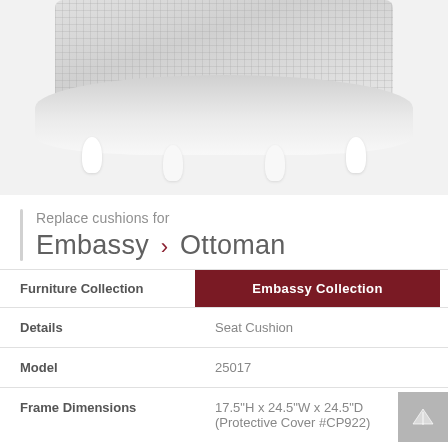[Figure (photo): Bottom portion of a white wicker Ottoman with white legs on white background]
Replace cushions for
Embassy › Ottoman
| Furniture Collection | Embassy Collection |
| Details | Seat Cushion |
| Model | 25017 |
| Frame Dimensions | 17.5"H x 24.5"W x 24.5"D (Protective Cover #CP922) |